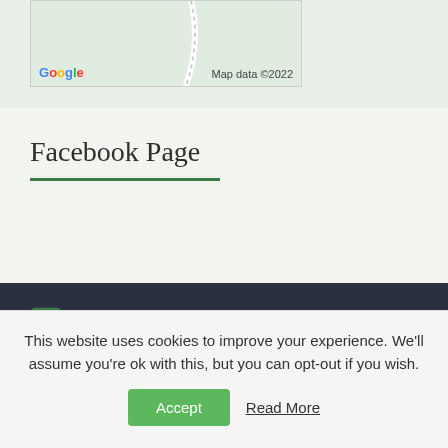[Figure (map): Google Maps embedded map showing a green area with a road curve. Google logo and 'Map data ©2022' watermark visible.]
Facebook Page
Contact
Kailzie Gardens,
Kailzie,
Peebles
This website uses cookies to improve your experience. We'll assume you're ok with this, but you can opt-out if you wish.